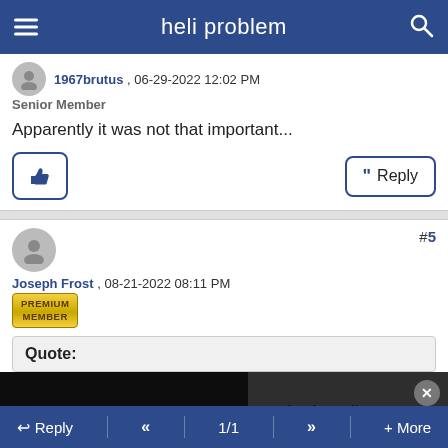heli problem
1967brutus , 06-29-2022 12:02 PM
Senior Member
Apparently it was not that important...
Joseph Frost , 08-21-2022 08:11 PM
PREMIUM MEMBER
#5
Quote:
[Figure (screenshot): Media player showing error message: 'The media could not be loaded, either because the server or network failed or because the format is not supported.' Overlaid on a dark video background. To the right, a grey image with text: 'Total solar eclipse brings rare darkness to Antarctica']
Reply  <<  1/1  >>  + More